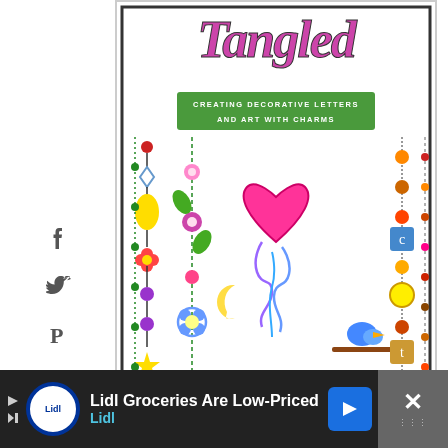[Figure (illustration): Book cover for 'Tangled: Creating Decorative Letters and Art with Charms' by Olivia A. Kneibler. Features colorful hand-drawn decorative illustration with charms, flowers, hearts, stars, butterflies, and decorative dangling elements. Title text in decorative font at top, green banner subtitle in center, author name in pink banner at bottom.]
[Figure (infographic): Social media share sidebar with Facebook (f), Twitter bird, Pinterest (P), and Yum icons stacked vertically on the left side.]
0
SHARES
[Figure (infographic): Heart/like button (dark blue circle with white heart icon), number 1 badge, and share button (circle with share icon) on the right side.]
1
Lidl Groceries Are Low-Priced
Lidl
[Figure (infographic): Advertisement bar at bottom for Lidl groceries. Dark background with Lidl circular logo, headline text, blue arrow button, and an X close button on the right.]